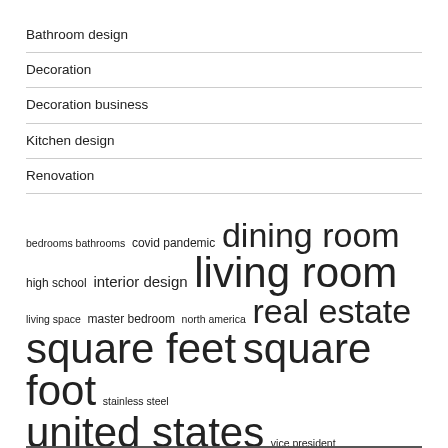Bathroom design
Decoration
Decoration business
Kitchen design
Renovation
bedrooms bathrooms  covid pandemic  dining room  high school  interior design  living room  living space  master bedroom  north america  real estate  square feet  square foot  stainless steel  united states  vice president